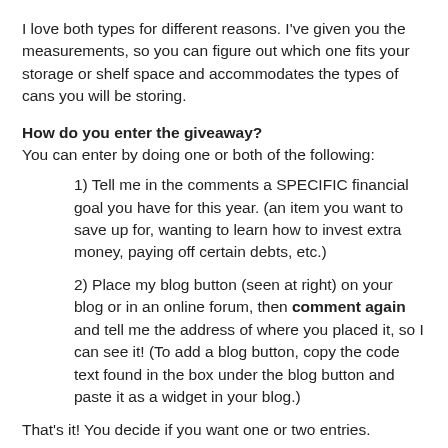I love both types for different reasons. I've given you the measurements, so you can figure out which one fits your storage or shelf space and accommodates the types of cans you will be storing.
How do you enter the giveaway?
You can enter by doing one or both of the following:
1) Tell me in the comments a SPECIFIC financial goal you have for this year. (an item you want to save up for, wanting to learn how to invest extra money, paying off certain debts, etc.)
2) Place my blog button (seen at right) on your blog or in an online forum, then comment again and tell me the address of where you placed it, so I can see it! (To add a blog button, copy the code text found in the box under the blog button and paste it as a widget in your blog.)
That's it! You decide if you want one or two entries.